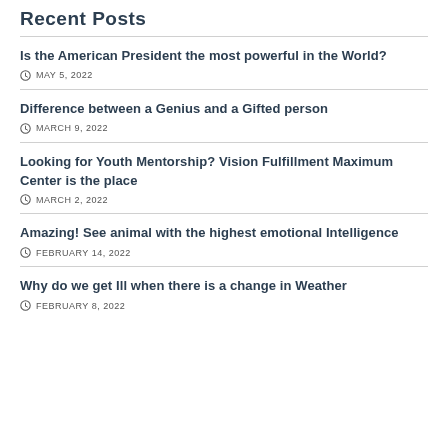Recent Posts
Is the American President the most powerful in the World?
MAY 5, 2022
Difference between a Genius and a Gifted person
MARCH 9, 2022
Looking for Youth Mentorship? Vision Fulfillment Maximum Center is the place
MARCH 2, 2022
Amazing! See animal with the highest emotional Intelligence
FEBRUARY 14, 2022
Why do we get Ill when there is a change in Weather
FEBRUARY 8, 2022